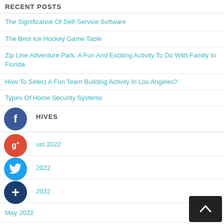RECENT POSTS
The Significance Of Self-Service Software
The Best Ice Hockey Game Table
Zip Line Adventure Park: A Fun And Exciting Activity To Do With Family In Florida
How To Select A Fun Team Building Activity In Los Angeles?
Types Of Home Security Systems
ARCHIVES
August 2022
July 2022
June 2022
May 2022
April 2022